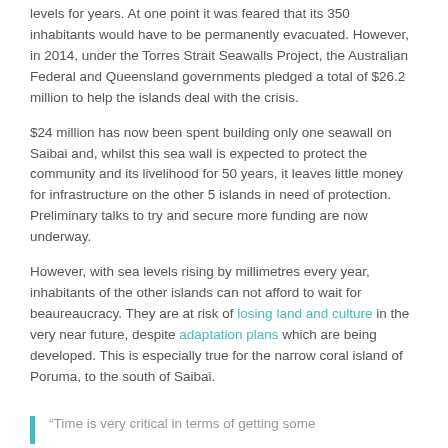levels for years. At one point it was feared that its 350 inhabitants would have to be permanently evacuated. However, in 2014, under the Torres Strait Seawalls Project, the Australian Federal and Queensland governments pledged a total of $26.2 million to help the islands deal with the crisis.
$24 million has now been spent building only one seawall on Saibai and, whilst this sea wall is expected to protect the community and its livelihood for 50 years, it leaves little money for infrastructure on the other 5 islands in need of protection. Preliminary talks to try and secure more funding are now underway.
However, with sea levels rising by millimetres every year, inhabitants of the other islands can not afford to wait for beaureaucracy. They are at risk of losing land and culture in the very near future, despite adaptation plans which are being developed. This is especially true for the narrow coral island of Poruma, to the south of Saibai.
“Time is very critical in terms of getting some